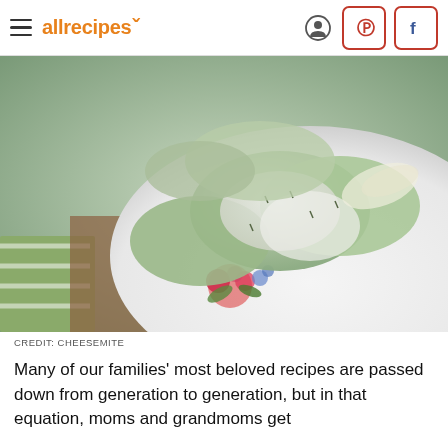allrecipes
[Figure (photo): Close-up photo of cucumber salad or pierogies with creamy dressing on a floral-patterned white plate, with a green and white cloth visible in the lower left corner.]
CREDIT: CHEESEMITE
Many of our families' most beloved recipes are passed down from generation to generation, but in that equation, moms and grandmoms get a lot of credit for being the family cooks.